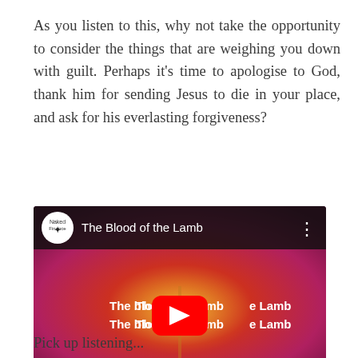As you listen to this, why not take the opportunity to consider the things that are weighing you down with guilt. Perhaps it's time to apologise to God, thank him for sending Jesus to die in your place, and ask for his everlasting forgiveness?
[Figure (screenshot): YouTube video embed thumbnail showing 'The Blood of the Lamb' with a channel icon, video title, three-dot menu, play button, and partial lyrics 'The blo...e Lamb' repeated twice over a red/orange gradient background.]
Pick up listening...